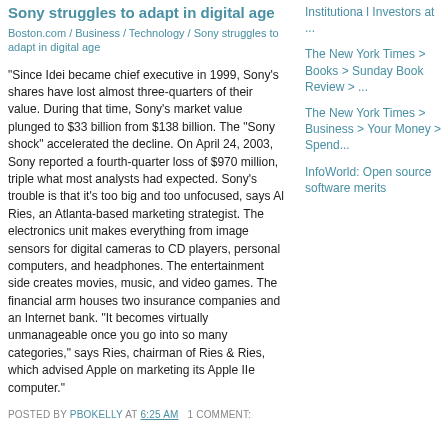Sony struggles to adapt in digital age
Boston.com / Business / Technology / Sony struggles to adapt in digital age
"Since Idei became chief executive in 1999, Sony's shares have lost almost three-quarters of their value. During that time, Sony's market value plunged to $33 billion from $138 billion. The "Sony shock" accelerated the decline. On April 24, 2003, Sony reported a fourth-quarter loss of $970 million, triple what most analysts had expected. Sony's trouble is that it's too big and too unfocused, says Al Ries, an Atlanta-based marketing strategist. The electronics unit makes everything from image sensors for digital cameras to CD players, personal computers, and headphones. The entertainment side creates movies, music, and video games. The financial arm houses two insurance companies and an Internet bank. "It becomes virtually unmanageable once you go into so many categories," says Ries, chairman of Ries & Ries, which advised Apple on marketing its Apple IIe computer."
POSTED BY PBOKELLY AT 6:25 AM  1 COMMENT:
Institutional Investors at ...
The New York Times > Books > Sunday Book Review > ...
The New York Times > Business > Your Money > Spend...
InfoWorld: Open source software merits...